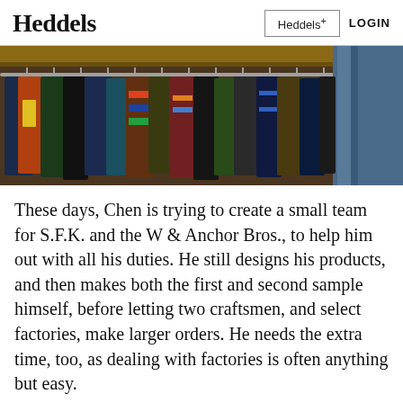Heddels   Heddels+   LOGIN
[Figure (photo): A clothing rack densely packed with hanging garments of various colors including blues, greens, reds, and multicolored shirts and jackets, viewed from below with a wooden shelf above.]
These days, Chen is trying to create a small team for S.F.K. and the W & Anchor Bros., to help him out with all his duties. He still designs his products, and then makes both the first and second sample himself, before letting two craftsmen, and select factories, make larger orders. He needs the extra time, too, as dealing with factories is often anything but easy.